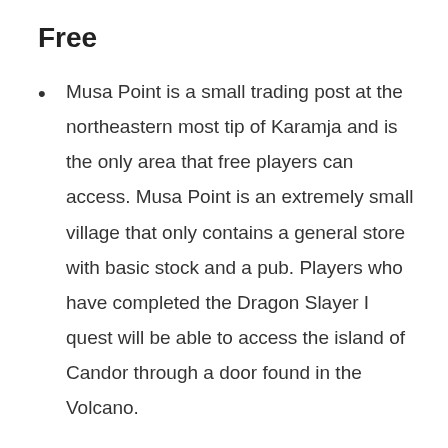Free
Musa Point is a small trading post at the northeastern most tip of Karamja and is the only area that free players can access. Musa Point is an extremely small village that only contains a general store with basic stock and a pub. Players who have completed the Dragon Slayer I quest will be able to access the island of Candor through a door found in the Volcano.
Members
(partial, cut off at bottom)